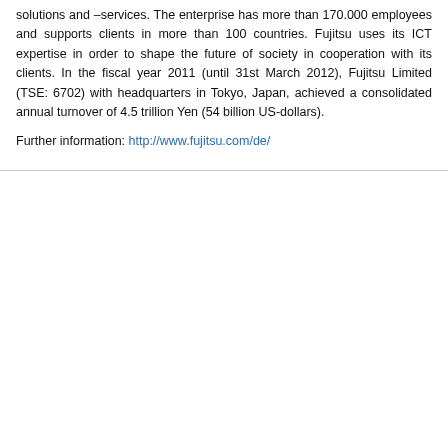solutions and –services. The enterprise has more than 170.000 employees and supports clients in more than 100 countries. Fujitsu uses its ICT expertise in order to shape the future of society in cooperation with its clients. In the fiscal year 2011 (until 31st March 2012), Fujitsu Limited (TSE: 6702) with headquarters in Tokyo, Japan, achieved a consolidated annual turnover of 4.5 trillion Yen (54 billion US-dollars).
Further information: http://www.fujitsu.com/de/